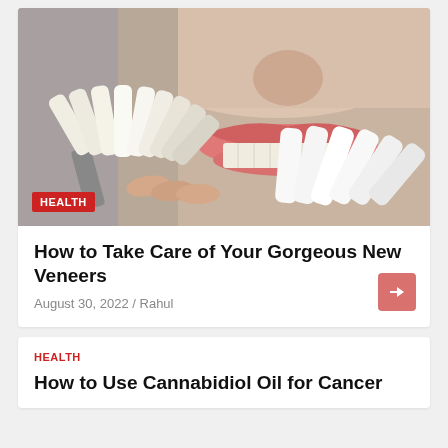[Figure (photo): Close-up photo of a person's mouth comparing dental veneers color samples against their teeth. A fan of veneer shades is held up to the lower lip. A red HEALTH badge is overlaid at the bottom-left corner of the image.]
How to Take Care of Your Gorgeous New Veneers
August 30, 2022 / Rahul
HEALTH
How to Use Cannabidiol Oil for Cancer